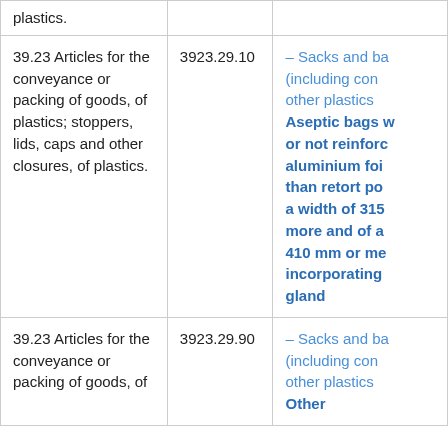| Heading | HS Code | Description |
| --- | --- | --- |
| plastics. |  |  |
| 39.23 Articles for the conveyance or packing of goods, of plastics; stoppers, lids, caps and other closures, of plastics. | 3923.29.10 | – Sacks and ba (including con other plastics Aseptic bags w or not reinforc aluminium foi than retort po a width of 315 more and of a 410 mm or me incorporating gland |
| 39.23 Articles for the conveyance or packing of goods, of | 3923.29.90 | – Sacks and ba (including con other plastics Other |